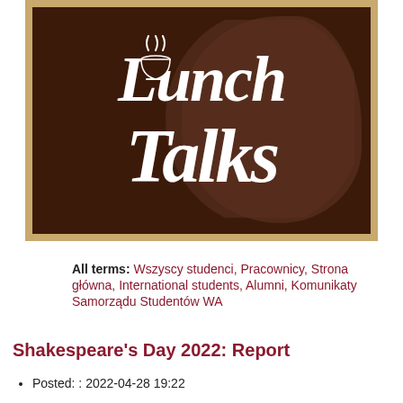[Figure (logo): Lunch Talks logo: dark brown background with lighter brown silhouette shape, cursive white text reading 'Lunch Talks' with a steaming bowl icon replacing the 'u' in Lunch, framed in a golden/tan border.]
All terms: Wszyscy studenci, Pracownicy, Strona główna, International students, Alumni, Komunikaty Samorządu Studentów WA
Shakespeare's Day 2022: Report
Posted: : 2022-04-28 19:22